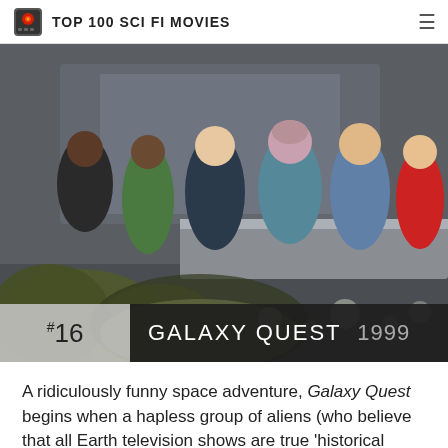TOP 100 SCI FI MOVIES
[Figure (photo): Movie still from Galaxy Quest (1999) showing a group of actors in sci-fi costumes including alien makeup, standing together in a spaceship-like setting. In the foreground is a blurred alien creature.]
#16 GALAXY QUEST 1999
A ridiculously funny space adventure, Galaxy Quest begins when a hapless group of aliens (who believe that all Earth television shows are true 'historical documents') seek out the crew of a